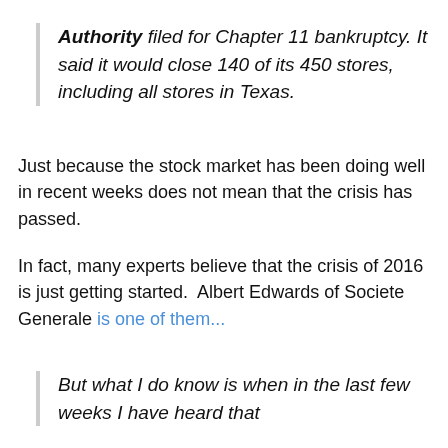Authority filed for Chapter 11 bankruptcy. It said it would close 140 of its 450 stores, including all stores in Texas.
Just because the stock market has been doing well in recent weeks does not mean that the crisis has passed.
In fact, many experts believe that the crisis of 2016 is just getting started.  Albert Edwards of Societe Generale is one of them...
But what I do know is when in the last few weeks I have heard that